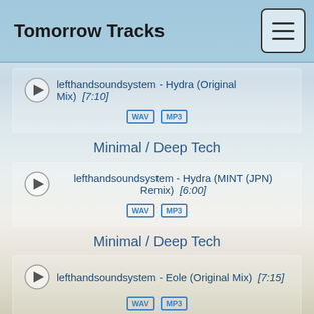Tomorrow Tracks
lefthandsoundsystem - Hydra (Original Mix) [7:10] WAV MP3
Minimal / Deep Tech
lefthandsoundsystem - Hydra (MINT (JPN) Remix) [6:00] WAV MP3
Minimal / Deep Tech
lefthandsoundsystem - Eole (Original Mix) [7:15] WAV MP3